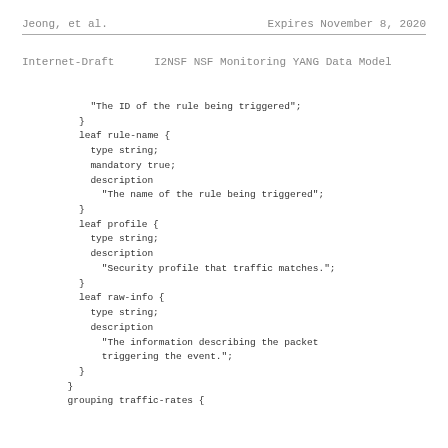Jeong, et al.                Expires November 8, 2020
Internet-Draft      I2NSF NSF Monitoring YANG Data Model
"The ID of the rule being triggered";
          }
          leaf rule-name {
            type string;
            mandatory true;
            description
              "The name of the rule being triggered";
          }
          leaf profile {
            type string;
            description
              "Security profile that traffic matches.";
          }
          leaf raw-info {
            type string;
            description
              "The information describing the packet
              triggering the event.";
          }
        }
        grouping traffic-rates {